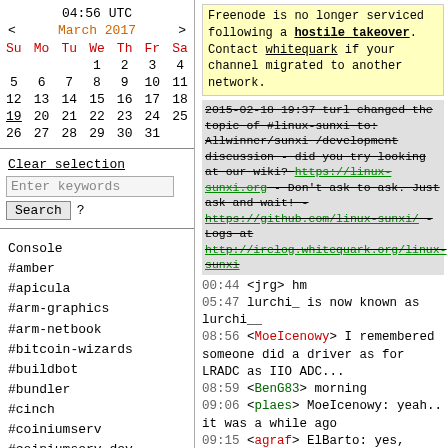04:56 UTC
< March 2017 >
| Su | Mo | Tu | We | Th | Fr | Sa |
| --- | --- | --- | --- | --- | --- | --- |
|  |  |  | 1 | 2 | 3 | 4 |
| 5 | 6 | 7 | 8 | 9 | 10 | 11 |
| 12 | 13 | 14 | 15 | 16 | 17 | 18 |
| 19 | 20 | 21 | 22 | 23 | 24 | 25 |
| 26 | 27 | 28 | 29 | 30 | 31 |  |
Clear selection
Enter keywords
Search ?
Console
#amber
#apicula
#arm-graphics
#arm-netbook
#bitcoin-wizards
#buildbot
#bundler
#cinch
#coiniumserv
#coiniumserv-dev
#crystal-lang
Freenode is no longer serviced following a hostile takeover. Contact whitequark if your channel migrated to another network.
2015-02-18 19:37 turl changed the topic of #linux-sunxi to: Allwinner/sunxi /development discussion - did you try looking at our wiki? https://linux-sunxi.org - Don't ask to ask. Just ask and wait! - https://github.com/linux-sunxi/ - Logs at http://irclog.whitequark.org/linux-sunxi
00:44 <jrg> hm
05:47 lurchi_ is now known as lurchi__
08:56 <MoeIcenowy> I remembered someone did a driver as for LRADC as IIO ADC...
08:59 <BenG83> morning
09:06 <plaes> MoeIcenowy: yeah.. it was a while ago
09:15 <agraf> ElBarto: yes, first - not the only :)
09:16 <agraf> ElBarto: you guys were faster in converting over than i was in moving opensuse to it ;)
09:17 <ElBarto> agraf: honestly I